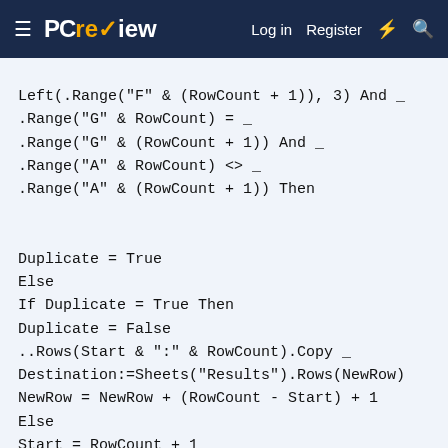PCreview — Log in  Register
Left(.Range("F" & (RowCount + 1)), 3) And _
.Range("G" & RowCount) = _
.Range("G" & (RowCount + 1)) And _
.Range("A" & RowCount) <> _
.Range("A" & (RowCount + 1)) Then


Duplicate = True
Else
If Duplicate = True Then
Duplicate = False
..Rows(Start & ":" & RowCount).Copy _
Destination:=Sheets("Results").Rows(NewRow)
NewRow = NewRow + (RowCount - Start) + 1
Else
Start = RowCount + 1
End If
End If
RowCount = RowCount + 1